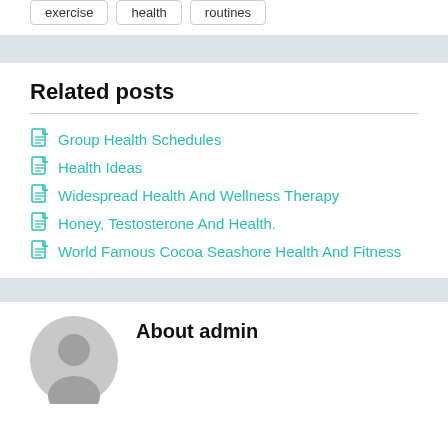exercise
health
routines
Related posts
Group Health Schedules
Health Ideas
Widespread Health And Wellness Therapy
Honey, Testosterone And Health.
World Famous Cocoa Seashore Health And Fitness
About admin